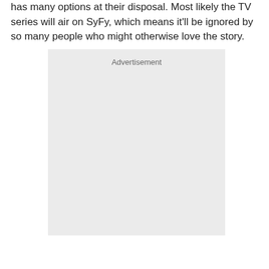has many options at their disposal. Most likely the TV series will air on SyFy, which means it'll be ignored by so many people who might otherwise love the story.
[Figure (other): Advertisement placeholder box with light gray background and 'Advertisement' label at top center]